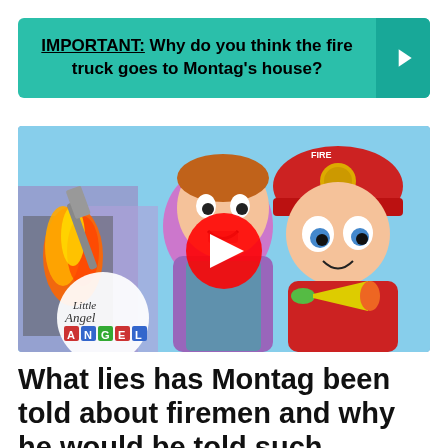IMPORTANT: Why do you think the fire truck goes to Montag's house?
[Figure (screenshot): YouTube video thumbnail showing animated characters: a man holding a spatula near a fire, and a child dressed as a fire chief holding a megaphone. Little Angel logo visible in bottom left. Red YouTube play button in center.]
What lies has Montag been told about firemen and why he would be told such things?